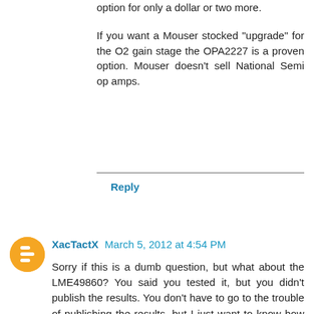option for only a dollar or two more.

If you want a Mouser stocked "upgrade" for the O2 gain stage the OPA2227 is a proven option. Mouser doesn't sell National Semi op amps.
Reply
XacTactX March 5, 2012 at 4:54 PM
Sorry if this is a dumb question, but what about the LME49860? You said you tested it, but you didn't publish the results. You don't have to go to the trouble of publishing the results, but I just want to know how good is it compared to the mainstream LME49860? Is it a clear upgrade in every category, or is it better in some things and worse at others?
Reply
▾ Replies